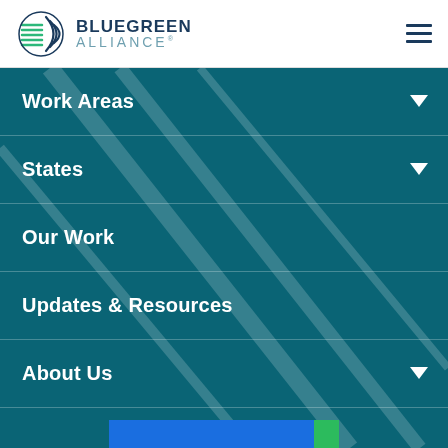Bluegreen Alliance - navigation header with logo and hamburger menu
Work Areas
States
Our Work
Updates & Resources
About Us